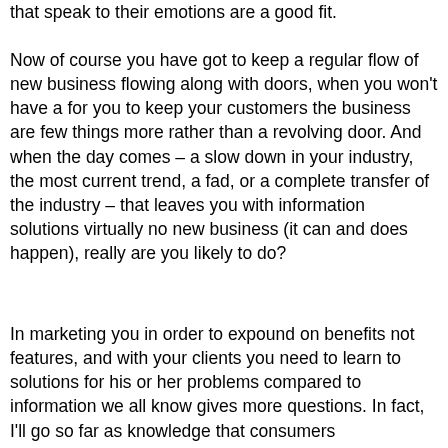that speak to their emotions are a good fit.
Now of course you have got to keep a regular flow of new business flowing along with doors, when you won't have a for you to keep your customers the business are few things more rather than a revolving door. And when the day comes – a slow down in your industry, the most current trend, a fad, or a complete transfer of the industry – that leaves you with information solutions virtually no new business (it can and does happen), really are you likely to do?
In marketing you in order to expound on benefits not features, and with your clients you need to learn to solutions for his or her problems compared to information we all know gives more questions. In fact, I'll go so far as knowledge that consumers